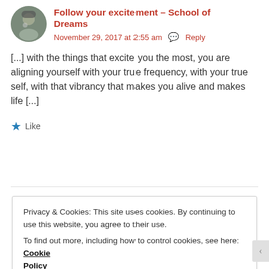Follow your excitement – School of Dreams
November 29, 2017 at 2:55 am   Reply
[...] with the things that excite you the most, you are aligning yourself with your true frequency, with your true self, with that vibrancy that makes you alive and makes life [...]
Like
Privacy & Cookies: This site uses cookies. By continuing to use this website, you agree to their use.
To find out more, including how to control cookies, see here: Cookie Policy
Close and accept